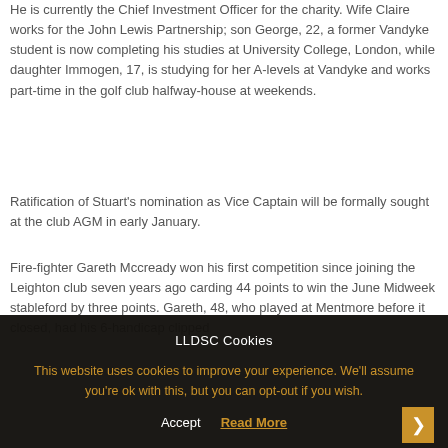He is currently the Chief Investment Officer for the charity. Wife Claire works for the John Lewis Partnership; son George, 22, a former Vandyke student is now completing his studies at University College, London, while daughter Immogen, 17, is studying for her A-levels at Vandyke and works part-time in the golf club halfway-house at weekends.
Ratification of Stuart's nomination as Vice Captain will be formally sought at the club AGM in early January.
Fire-fighter Gareth Mccready won his first competition since joining the Leighton club seven years ago carding 44 points to win the June Midweek stableford by three points. Gareth, 48, who played at Mentmore before it closed, had his 6-handicap clipped
LLDSC Cookies
This website uses cookies to improve your experience. We'll assume you're ok with this, but you can opt-out if you wish.
Accept   Read More